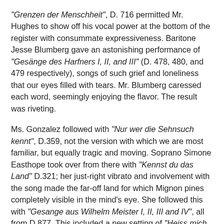"Grenzen der Menschheit", D. 716 permitted Mr. Hughes to show off his vocal power at the bottom of the register with consummate expressiveness.  Baritone Jesse Blumberg gave an astonishing performance of "Gesänge des Harfners I, II, and III" (D. 478, 480, and 479 respectively), songs of such grief and loneliness that our eyes filled with tears.  Mr. Blumberg caressed each word, seemingly enjoying the flavor.  The result was riveting.
Ms. Gonzalez followed with "Nur wer die Sehnsuch kennt", D.359, not the version with which we are most familiar, but equally tragic and moving.  Soprano Simone Easthope took over from there with "Kennst du das Land" D.321; her just-right vibrato and involvement with the song made the far-off land for which Mignon pines completely visible in the mind's eye.  She followed this with "Gesange aus Wilhelm Meister I, II, III and IV", all from D.877.  This included a new setting of "Heiss mich nicht reden" and the version of "Nur wer die sehnsucht kennt" with which we are most familiar.  We felt like we were meeting a dear old friend wearing beautiful new clothes.